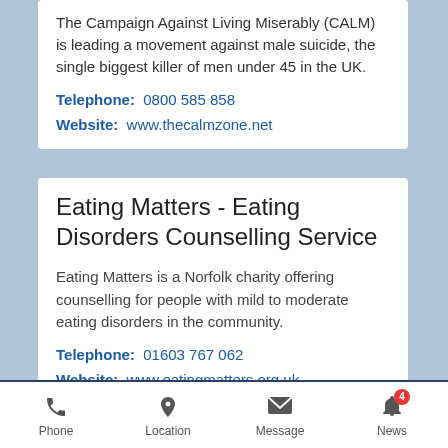The Campaign Against Living Miserably (CALM) is leading a movement against male suicide, the single biggest killer of men under 45 in the UK.
Telephone:  0800 585 858
Website:  www.thecalmzone.net
Eating Matters - Eating Disorders Counselling Service
Eating Matters is a Norfolk charity offering counselling for people with mild to moderate eating disorders in the community.
Telephone:  01603 767 062
Website:  www.eatingmatters.org.uk
Email:  eatingmatters@norfolkeda.org.uk
Phone  Location  Message  News